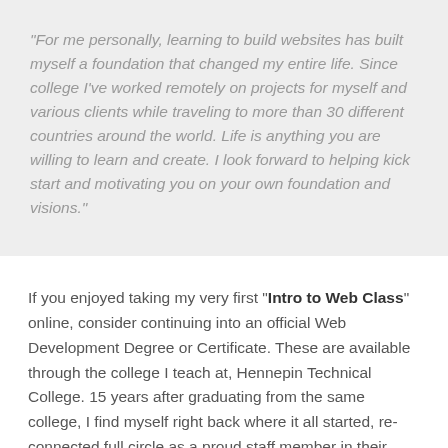“For me personally, learning to build websites has built myself a foundation that changed my entire life. Since college I’ve worked remotely on projects for myself and various clients while traveling to more than 30 different countries around the world. Life is anything you are willing to learn and create. I look forward to helping kick start and motivating you on your own foundation and visions.”
If you enjoyed taking my very first “Intro to Web Class” online, consider continuing into an official Web Development Degree or Certificate. These are available through the college I teach at, Hennepin Technical College. 15 years after graduating from the same college, I find myself right back where it all started, re-connected full circle as a proud staff member in their Web & Graphic Design Department. I look forward to helping guide you through our classes in this brand new life-changing experience.